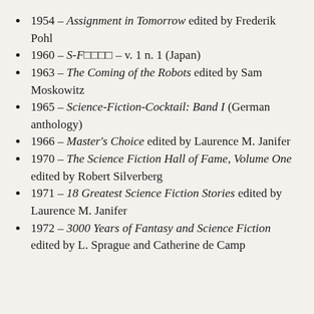1954 – Assignment in Tomorrow edited by Frederik Pohl
1960 – S-F□□□□ – v. 1 n. 1 (Japan)
1963 – The Coming of the Robots edited by Sam Moskowitz
1965 – Science-Fiction-Cocktail: Band I (German anthology)
1966 – Master's Choice edited by Laurence M. Janifer
1970 – The Science Fiction Hall of Fame, Volume One edited by Robert Silverberg
1971 – 18 Greatest Science Fiction Stories edited by Laurence M. Janifer
1972 – 3000 Years of Fantasy and Science Fiction edited by L. Sprague and Catherine de Camp